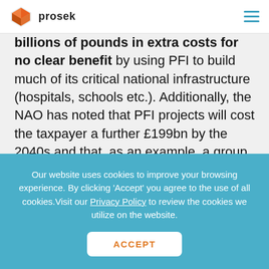prosek
billions of pounds in extra costs for no clear benefit by using PFI to build much of its critical national infrastructure (hospitals, schools etc.). Additionally, the NAO has noted that PFI projects will cost the taxpayer a further £199bn by the 2040s and that, as an example, a group of schools cost 40% more to build under PFI and a hospital 70% more to construct under PFI than if they were
Our website uses cookies to improve your browsing experience. By clicking 'Accept' you agree to the use of all cookies.Visit our Privacy Policy to review the cookies we utilize on the website.